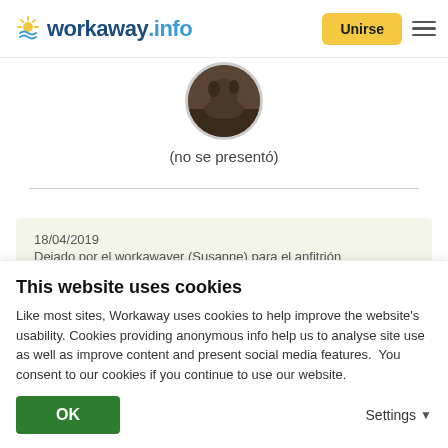[Figure (logo): Workaway.info logo with sun/wave icon, blue and teal text]
[Figure (photo): Circular profile photo of a person in a forest/nature scene]
(no se presentó)
18/04/2019
Dejado por el workawayer (Susanne) para el anfitrión
I loved staying with Nerida and all her beautiful animals and felt very welcome from the first moment.
She patiently answered all my questions about off the grid
This website uses cookies
Like most sites, Workaway uses cookies to help improve the website's usability. Cookies providing anonymous info help us to analyse site use as well as improve content and present social media features.  You consent to our cookies if you continue to use our website.